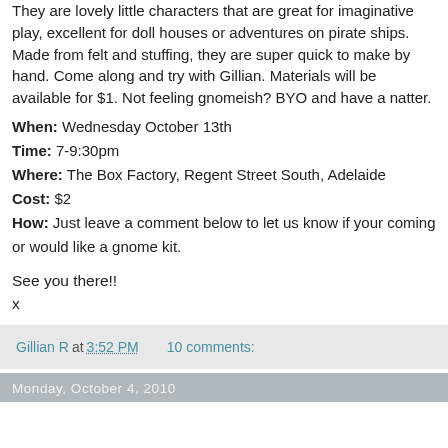They are lovely little characters that are great for imaginative play, excellent for doll houses or adventures on pirate ships. Made from felt and stuffing, they are super quick to make by hand. Come along and try with Gillian. Materials will be available for $1. Not feeling gnomeish? BYO and have a natter.
When: Wednesday October 13th
Time: 7-9:30pm
Where: The Box Factory, Regent Street South, Adelaide
Cost: $2
How: Just leave a comment below to let us know if your coming or would like a gnome kit.
See you there!!
x
Gillian R at 3:52 PM   10 comments:
Monday, October 4, 2010